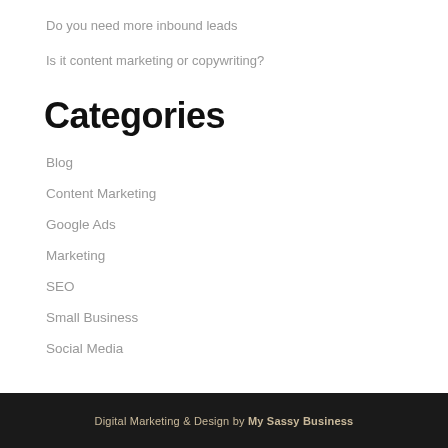Do you need more inbound leads
Is it content marketing or copywriting?
Categories
Blog
Content Marketing
Google Ads
Marketing
SEO
Small Business
Social Media
Digital Marketing & Design by My Sassy Business